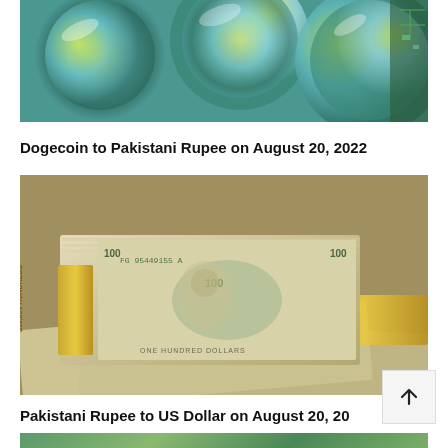[Figure (photo): Close-up of shiny holographic cryptocurrency coins (Dogecoin) with green/gold/teal colors]
Dogecoin to Pakistani Rupee on August 20, 2022
[Figure (photo): Stacks of US $100 dollar bills bundled with gold bands, piled up]
Pakistani Rupee to US Dollar on August 20, 20
[Figure (photo): Australian or other currency banknotes in green tones, partially visible at bottom]